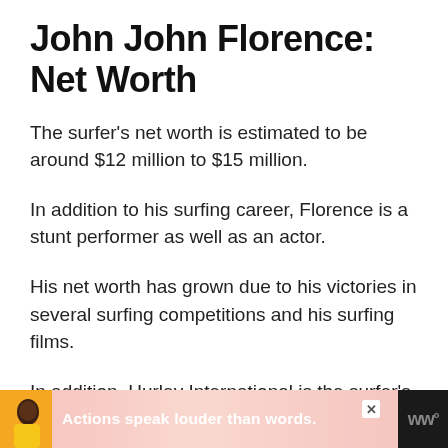John John Florence: Net Worth
The surfer's net worth is estimated to be around $12 million to $15 million.
In addition to his surfing career, Florence is a stunt performer as well as an actor.
His net worth has grown due to his victories in several surfing competitions and his surfing films.
In addition, Hurley International is the surfer's sponsor since 2013.
[Figure (other): Advertisement banner at bottom: dark background with illustrated figure in yellow shirt, pink/coral gradient background with text 'Actions speak louder than words.' and logo on right side.]